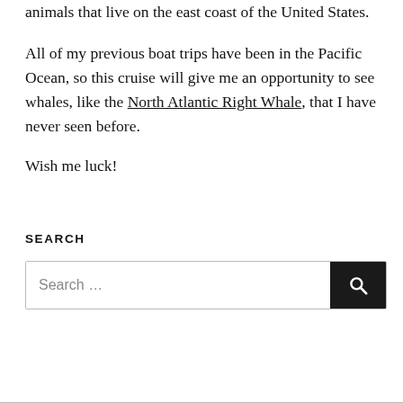animals that live on the east coast of the United States.
All of my previous boat trips have been in the Pacific Ocean, so this cruise will give me an opportunity to see whales, like the North Atlantic Right Whale, that I have never seen before.
Wish me luck!
SEARCH
[Figure (other): Search input box with placeholder text 'Search ...' and a black search button with a magnifying glass icon]